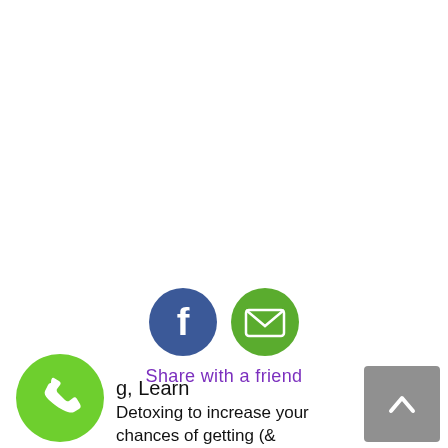[Figure (infographic): Two circular social sharing icons side by side: a blue Facebook icon (letter f) and a green envelope/email icon.]
Share with a friend
[Figure (infographic): Green circular phone/call button icon in the bottom-left corner.]
[Figure (infographic): Gray back-to-top button with an upward chevron arrow in the bottom-right corner.]
g, Learn
Detoxing to increase your chances of getting (&